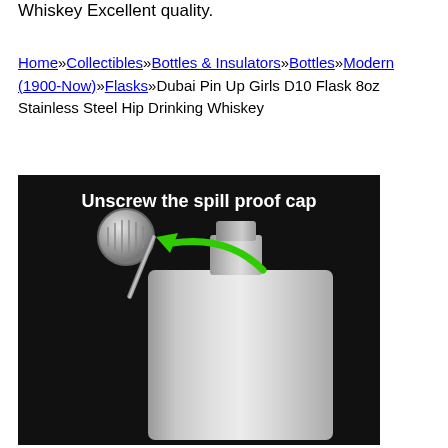Whiskey Excellent quality.
Home»Collectibles»Bottles & Insulators»Bottles»Modern (1900-Now)»Flasks»Dubai Pin Up Girls D10 Flask 8oz Stainless Steel Hip Drinking Whiskey
[Figure (photo): Product photo of a stainless steel hip flask with cap unscrewed, on a dark background, with text overlay 'Unscrew the spill proof cap' and a green arrow pointing to the cap]